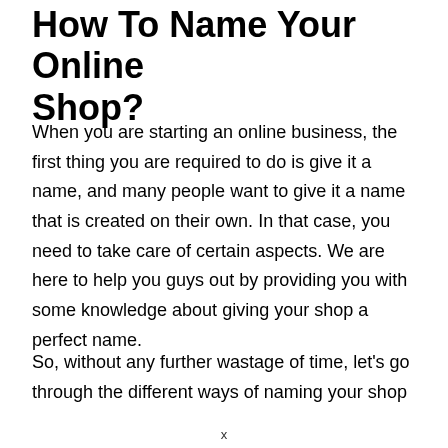How To Name Your Online Shop?
When you are starting an online business, the first thing you are required to do is give it a name, and many people want to give it a name that is created on their own. In that case, you need to take care of certain aspects. We are here to help you guys out by providing you with some knowledge about giving your shop a perfect name.
So, without any further wastage of time, let's go through the different ways of naming your shop
x